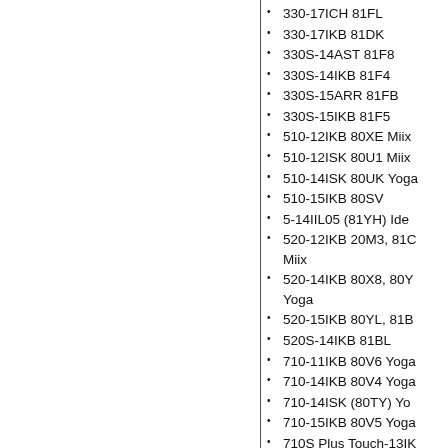330-17ICH 81FL
330-17IKB 81DK
330S-14AST 81F8
330S-14IKB 81F4
330S-15ARR 81FB
330S-15IKB 81F5
510-12IKB 80XE Miix
510-12ISK 80U1 Miix
510-14ISK 80UK Yoga
510-15IKB 80SV
5-14IIL05 (81YH) IdeaPad
520-12IKB 20M3, 81C Miix
520-14IKB 80X8, 80Y Yoga
520-15IKB 80YL, 81B
520S-14IKB 81BL
710-11IKB 80V6 Yoga
710-14IKB 80V4 Yoga
710-14ISK (80TY) Yoga
710-15IKB 80V5 Yoga
710S Plus Touch-13IKB 80YQ
710S Plus-13IKB
710S Plus-13ISK 80V